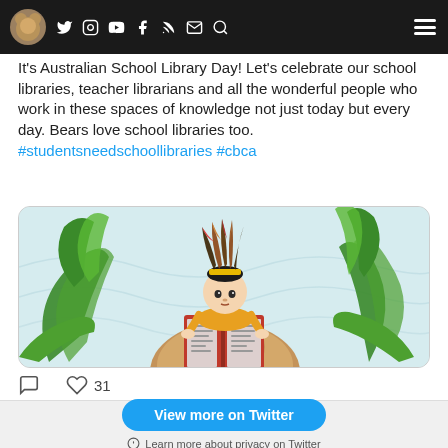Navigation bar with social media icons: Twitter, Instagram, YouTube, Facebook, RSS, Email, Search, and hamburger menu
It's Australian School Library Day! Let's celebrate our school libraries, teacher librarians and all the wonderful people who work in these spaces of knowledge not just today but every day. Bears love school libraries too. #studentsneedschoollibraries #cbca
[Figure (illustration): Illustration of a child with a feathered crown sitting on a bear and reading a red book, surrounded by green leaves on a light blue background]
31 likes
View more on Twitter
Learn more about privacy on Twitter